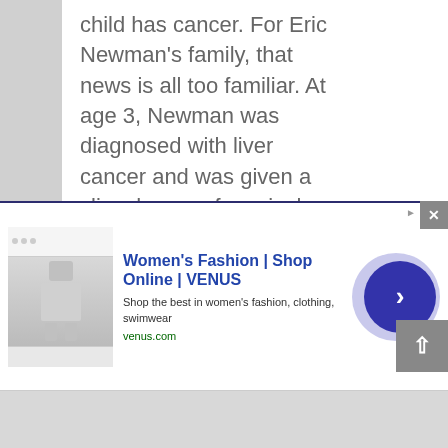child has cancer. For Eric Newman's family, that news is all too familiar. At age 3, Newman was diagnosed with liver cancer and was given a slim chance of survival. After two years of treatment, Newman went [...]
[Figure (screenshot): Advertisement banner for Women's Fashion | Shop Online | VENUS. Shows a thumbnail of the Venus website with a woman in white top and jeans. Ad text reads: 'Women's Fashion | Shop Online | VENUS', 'Shop the best in women's fashion, clothing, swimwear', 'venus.com'. Has a close button (x) and a blue circular next/forward button.]